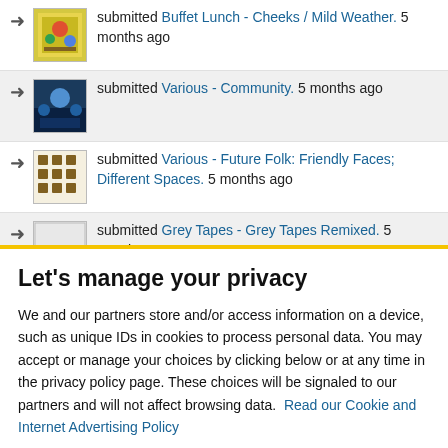submitted Buffet Lunch - Cheeks / Mild Weather. 5 months ago
submitted Various - Community. 5 months ago
submitted Various - Future Folk: Friendly Faces; Different Spaces. 5 months ago
submitted Grey Tapes - Grey Tapes Remixed. 5 months ago
submitted Bliss Fields - Bliss Fields. 6 months ago
Let's manage your privacy
We and our partners store and/or access information on a device, such as unique IDs in cookies to process personal data. You may accept or manage your choices by clicking below or at any time in the privacy policy page. These choices will be signaled to our partners and will not affect browsing data.  Read our Cookie and Internet Advertising Policy